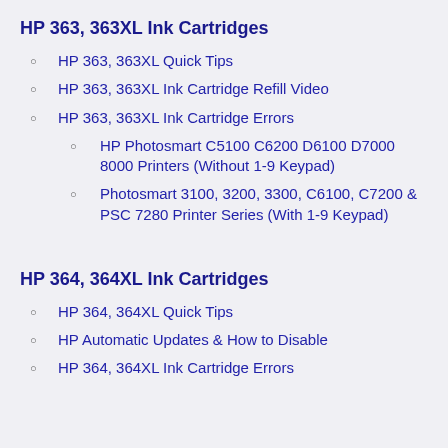HP 363, 363XL Ink Cartridges
HP 363, 363XL Quick Tips
HP 363, 363XL Ink Cartridge Refill Video
HP 363, 363XL Ink Cartridge Errors
HP Photosmart C5100 C6200 D6100 D7000 8000 Printers (Without 1-9 Keypad)
Photosmart 3100, 3200, 3300, C6100, C7200 & PSC 7280 Printer Series (With 1-9 Keypad)
HP 364, 364XL Ink Cartridges
HP 364, 364XL Quick Tips
HP Automatic Updates & How to Disable
HP 364, 364XL Ink Cartridge Errors